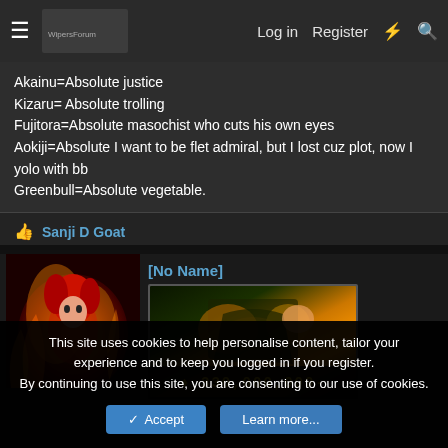≡  [site logo]  Log in  Register  ⚡  🔍
Akainu=Absolute justice
Kizaru= Absolute trolling
Fujitora=Absolute masochist who cuts his own eyes
Aokiji=Absolute I want to be flet admiral, but I lost cuz plot, now I yolo with bb
Greenbull=Absolute vegetable.
👍 Sanji D Goat
[No Name]
[Figure (illustration): Anime avatar showing a red-haired character with fire/flame effects]
[Figure (screenshot): Bounty poster image showing an anime character (Sanji) with flame effects and bounty amount ♦ 330,000,000-]
This site uses cookies to help personalise content, tailor your experience and to keep you logged in if you register.
By continuing to use this site, you are consenting to our use of cookies.
✓ Accept   Learn more...